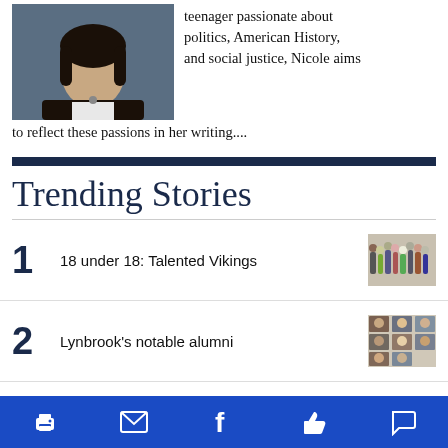[Figure (photo): Portrait photo of a young woman with dark hair wearing a dark jacket]
teenager passionate about politics, American History, and social justice, Nicole aims to reflect these passions in her writing....
Trending Stories
1  18 under 18: Talented Vikings
2  Lynbrook's notable alumni
3  Elizabeth Louie, Ronald Choi named employees of the year
Print | Email | Facebook | Like | Comment